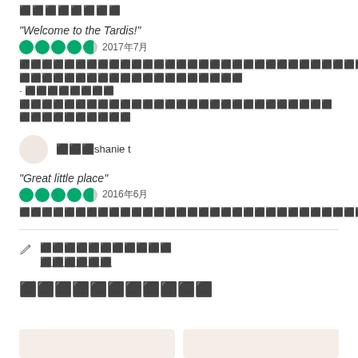⬛⬛⬛⬛⬛⬛⬛⬛
“Welcome to the Tardis!”
★★★★☆  2017年7月
⬛⬛⬛⬛⬛⬛⬛⬛⬛⬛⬛⬛⬛⬛⬛⬛⬛⬛⬛⬛⬛⬛⬛⬛⬛⬛⬛⬛⬛⬛⬛⬛⬛⬛⬛⬛⬛⬛⬛⬛ ⬛⬛⬛⬛⬛⬛⬛⬛⬛⬛⬛⬛⬛⬛⬛⬛⬛⬛⬛⬛ - ⬛⬛⬛⬛⬛⬛⬛⬛ ⬛⬛⬛⬛⬛⬛⬛⬛⬛⬛⬛⬛⬛⬛⬛⬛⬛⬛⬛⬛⬛⬛⬛⬛⬛⬛⬛⬛ ⬛⬛⬛⬛⬛⬛⬛⬛⬛⬛
⬛⬛⬛ shanie t
“Great little place”
★★★★☆  2016年6月
⬛⬛⬛⬛⬛⬛⬛⬛⬛⬛⬛⬛⬛⬛⬛⬛⬛⬛⬛⬛⬛⬛⬛⬛⬛⬛⬛⬛⬛⬛⬛⬛⬛⬛⬛⬛⬛⬛⬛⬛⬛⬛⬛
⬛⬛⬛⬛⬛⬛⬛⬛⬛⬛⬛ ⬛⬛⬛⬛⬛⬛
⬛⬛⬛⬛⬛⬛⬛⬛⬛⬛⬛